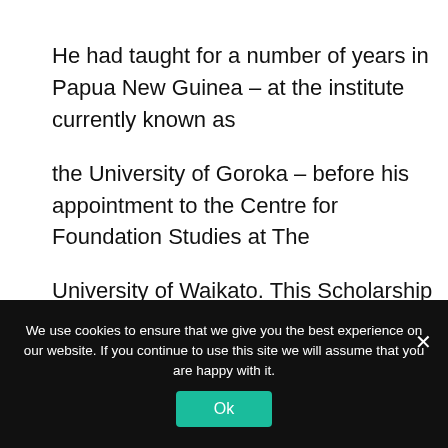He had taught for a number of years in Papua New Guinea – at the institute currently known as

the University of Goroka – before his appointment to the Centre for Foundation Studies at The

University of Waikato. This Scholarship commemorates Michael's commitment to teaching and to
We use cookies to ensure that we give you the best experience on our website. If you continue to use this site we will assume that you are happy with it.